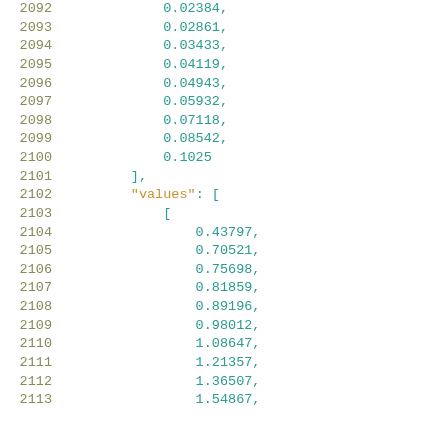Code listing lines 2092-2113 showing array data with numeric float values and a nested 'values' array.